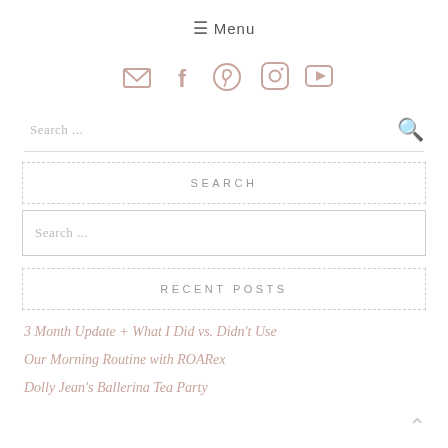≡ Menu
[Figure (illustration): Social media icons: email, facebook, pinterest, instagram, youtube in muted rose/taupe color]
Search ...
SEARCH
Search ...
RECENT POSTS
3 Month Update + What I Did vs. Didn't Use
Our Morning Routine with ROARex
Dolly Jean's Ballerina Tea Party